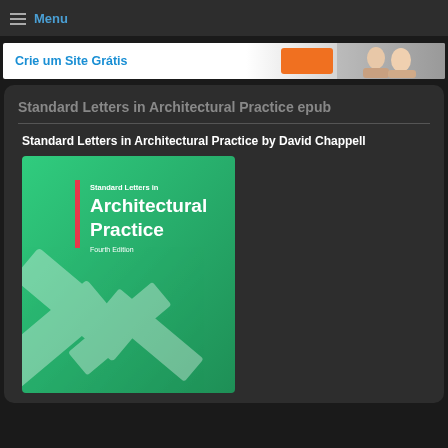Menu
[Figure (screenshot): Advertisement banner: 'Crie um Site Grátis' with orange button and photo of two people smiling]
Standard Letters in Architectural Practice epub
Standard Letters in Architectural Practice by David Chappell
[Figure (photo): Book cover: Standard Letters in Architectural Practice, Fourth Edition by David Chappell. Green cover with white title text and red vertical bar accent, with geometric X shapes at bottom.]